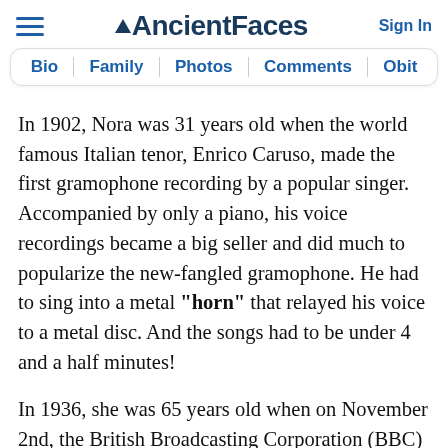AncientFaces — Sign In
Bio | Family | Photos | Comments | Obit
In 1902, Nora was 31 years old when the world famous Italian tenor, Enrico Caruso, made the first gramophone recording by a popular singer. Accompanied by only a piano, his voice recordings became a big seller and did much to popularize the new-fangled gramophone. He had to sing into a metal "horn" that relayed his voice to a metal disc. And the songs had to be under 4 and a half minutes!
In 1936, she was 65 years old when on November 2nd, the British Broadcasting Corporation (BBC) debuted the world's first